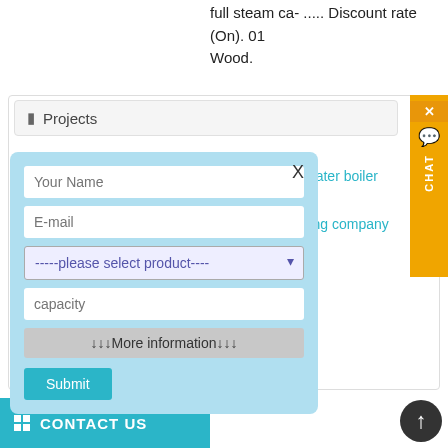full steam ca- ..... Discount rate (On). 01 Wood.
Projects
[Figure (screenshot): A modal/popup form with light blue background containing: a close X button, Your Name input, E-mail input, please select product dropdown, capacity textarea, More information bar, and Submit button]
ot water boiler for eating company →
Search
CONTACT US